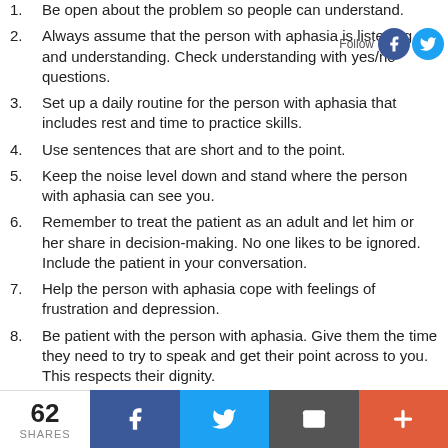Be open about the problem so people can understand.
Always assume that the person with aphasia is listening and understanding. Check understanding with yes/no questions.
Set up a daily routine for the person with aphasia that includes rest and time to practice skills.
Use sentences that are short and to the point.
Keep the noise level down and stand where the person with aphasia can see you.
Remember to treat the patient as an adult and let him or her share in decision-making. No one likes to be ignored. Include the patient in your conversation.
Help the person with aphasia cope with feelings of frustration and depression.
Be patient with the person with aphasia. Give them the time they need to try to speak and get their point across to you. This respects their dignity.
Talk to your doctor, nurse or other healthcare
62 SHARES